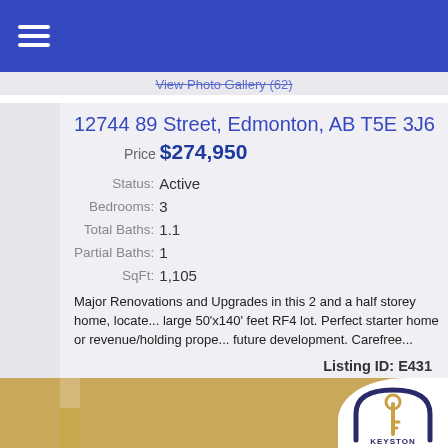≡ (navigation menu icon)
View Photo Gallery (62)
12744 89 Street, Edmonton, AB T5E 3J6
Price $274,950
| Field | Value |
| --- | --- |
| Status: | Active |
| Bedrooms: | 3 |
| Total Baths: | 1.1 |
| Partial Baths: | 1 |
| SqFt: | 1,105 |
Major Renovations and Upgrades in this 2 and a half storey home, located on a large 50'x140' feet RF4 lot. Perfect starter home or revenue/holding prope... future development. Carefree...
Listing ID: E431
[Figure (logo): Keystone Realty logo — circular arch with key icon]